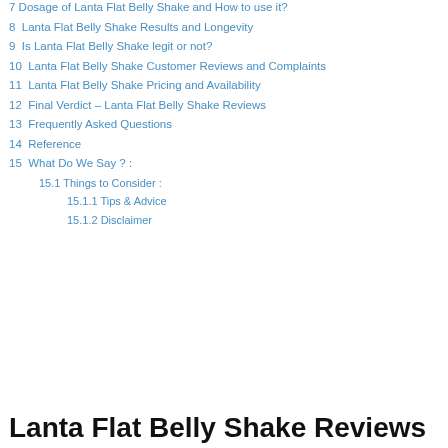7 Dosage of Lanta Flat Belly Shake and How to use it?
8 Lanta Flat Belly Shake Results and Longevity
9 Is Lanta Flat Belly Shake legit or not?
10 Lanta Flat Belly Shake Customer Reviews and Complaints
11 Lanta Flat Belly Shake Pricing and Availability
12 Final Verdict – Lanta Flat Belly Shake Reviews
13 Frequently Asked Questions
14 Reference
15 What Do We Say ? :
15.1 Things to Consider :
15.1.1 Tips & Advice
15.1.2 Disclaimer
Lanta Flat Belly Shake Reviews